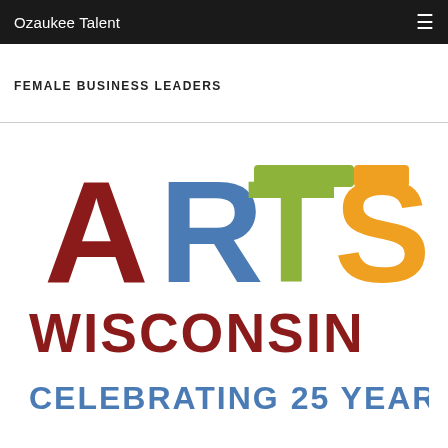Ozaukee Talent
FEMALE BUSINESS LEADERS
[Figure (logo): Arts Wisconsin logo with colorful ARTS lettering and text WISCONSIN CELEBRATING 25 YEARS]